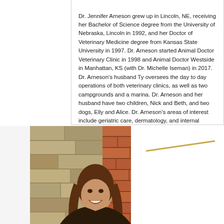Dr. Jennifer Arneson grew up in Lincoln, NE, receiving her Bachelor of Science degree from the University of Nebraska, Lincoln in 1992, and her Doctor of Veterinary Medicine degree from Kansas State University in 1997. Dr. Arneson started Animal Doctor Veterinary Clinic in 1998 and Animal Doctor Westside in Manhattan, KS (with Dr. Michelle Iseman) in 2017. Dr. Arneson's husband Ty oversees the day to day operations of both veterinary clinics, as well as two campgrounds and a marina. Dr. Arneson and her husband have two children, Nick and Beth, and two dogs, Elly and Alice. Dr. Arneson's areas of interest include geriatric care, dermatology, and internal medicine.
[Figure (photo): Photo of a woman with long brown hair smiling, standing in front of a stone and brick wall background. A diagonal golden line element is visible to the right of the photo.]